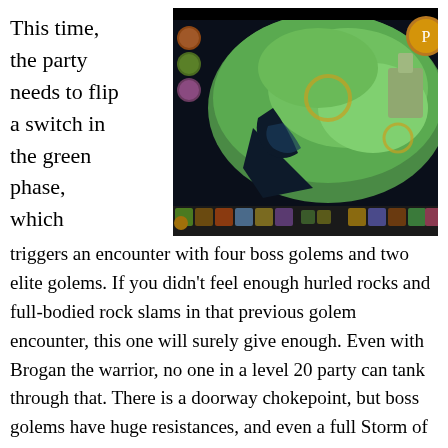This time, the party needs to flip a switch in the green phase, which
[Figure (screenshot): A video game screenshot showing a top-down view of a green-tinted fantasy map with dark water/void areas, game UI elements at the bottom including character portraits and action bars, and a gold/brown circular icon in the top right.]
triggers an encounter with four boss golems and two elite golems. If you didn't feel enough hurled rocks and full-bodied rock slams in that previous golem encounter, this one will surely give enough. Even with Brogan the warrior, no one in a level 20 party can tank through that. There is a doorway chokepoint, but boss golems have huge resistances, and even a full Storm of the Century will only take off 1/3 of their hitpoints on Nightmare. The blocker